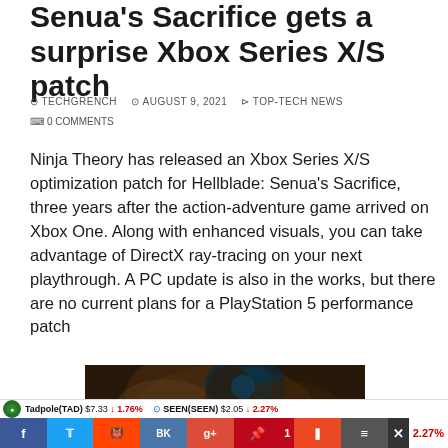Senua's Sacrifice gets a surprise Xbox Series X/S patch
⊙ TECHGRENCH   ⊙ AUGUST 9, 2021   ⊳ TOP-TECH NEWS   ⌨ 0 COMMENTS
Ninja Theory has released an Xbox Series X/S optimization patch for Hellblade: Senua's Sacrifice, three years after the action-adventure game arrived on Xbox One. Along with enhanced visuals, you can take advantage of DirectX ray-tracing on your next playthrough. A PC update is also in the works, but there are no current plans for a PlayStation 5 performance patch
[Figure (photo): Dark atmospheric photo from Hellblade: Senua's Sacrifice showing a character with blue/teal lighting]
Tadpole(TAD) $7.33 ↓ 1.76%   SEEN(SEEN) $2.05 ↓ 2.27%